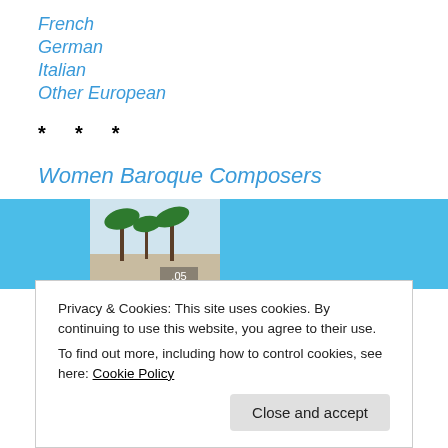French
German
Italian
Other European
* * *
Women Baroque Composers
[Figure (screenshot): Partial screenshot of music album covers or images in blue tones with a beach/palm tree photo in the center, showing '.05' label]
Privacy & Cookies: This site uses cookies. By continuing to use this website, you agree to their use.
To find out more, including how to control cookies, see here: Cookie Policy
Close and accept